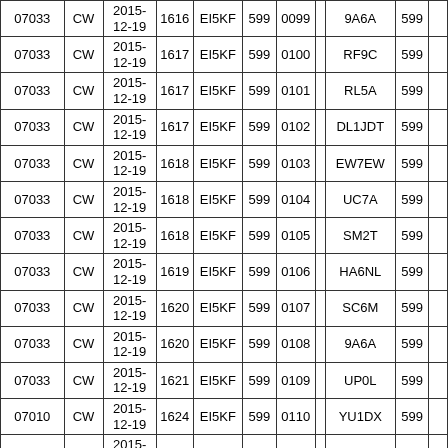| Freq | Mode | Date | Time | Call | RST | Nr |  | Call | RST |  |
| --- | --- | --- | --- | --- | --- | --- | --- | --- | --- | --- |
| 07033 | CW | 2015-12-19 | 1616 | EI5KF | 599 | 0099 |  | 9A6A | 599 |  |
| 07033 | CW | 2015-12-19 | 1617 | EI5KF | 599 | 0100 |  | RF9C | 599 |  |
| 07033 | CW | 2015-12-19 | 1617 | EI5KF | 599 | 0101 |  | RL5A | 599 |  |
| 07033 | CW | 2015-12-19 | 1617 | EI5KF | 599 | 0102 |  | DL1JDT | 599 |  |
| 07033 | CW | 2015-12-19 | 1618 | EI5KF | 599 | 0103 |  | EW7EW | 599 |  |
| 07033 | CW | 2015-12-19 | 1618 | EI5KF | 599 | 0104 |  | UC7A | 599 |  |
| 07033 | CW | 2015-12-19 | 1618 | EI5KF | 599 | 0105 |  | SM2T | 599 |  |
| 07033 | CW | 2015-12-19 | 1619 | EI5KF | 599 | 0106 |  | HA6NL | 599 |  |
| 07033 | CW | 2015-12-19 | 1620 | EI5KF | 599 | 0107 |  | SC6M | 599 |  |
| 07033 | CW | 2015-12-19 | 1620 | EI5KF | 599 | 0108 |  | 9A6A | 599 |  |
| 07033 | CW | 2015-12-19 | 1621 | EI5KF | 599 | 0109 |  | UP0L | 599 |  |
| 07010 | CW | 2015-12-19 | 1624 | EI5KF | 599 | 0110 |  | YU1DX | 599 |  |
| 07010 | CW | 2015-12-19 | 1625 | EI5KF | 599 | 0111 |  | S54O | 599 |  |